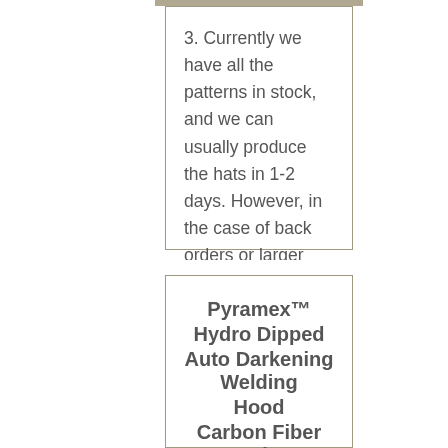3. Currently we have all the patterns in stock, and we can usually produce the hats in 1-2 days. However, in the case of back orders or larger orders there may be an additional 2-4 day lead time.
Pyramex™ Hydro Dipped Auto Darkening Welding Hood Carbon Fiber Design
SKU: ml-HDWH-702